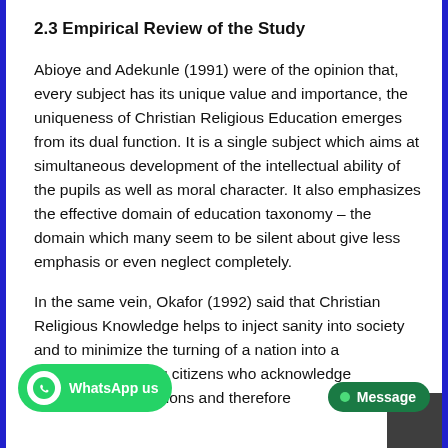2.3 Empirical Review of the Study
Abioye and Adekunle (1991) were of the opinion that, every subject has its unique value and importance, the uniqueness of Christian Religious Education emerges from its dual function. It is a single subject which aims at simultaneous development of the intellectual ability of the pupils as well as moral character. It also emphasizes the effective domain of education taxonomy – the domain which many seem to be silent about give less emphasis or even neglect completely.
In the same vein, Okafor (1992) said that Christian Religious Knowledge helps to inject sanity into society and to minimize the turning of a nation into a ...cultivating citizens who acknowledge metaphysical sanctions and therefore